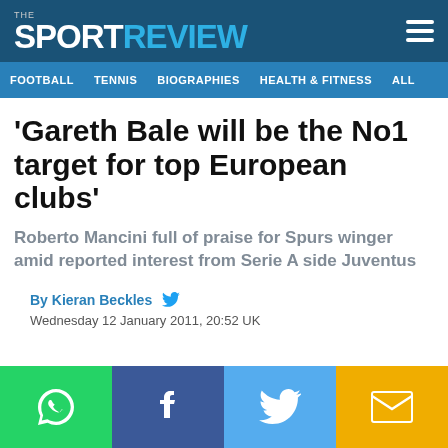THE SPORT REVIEW
FOOTBALL  TENNIS  BIOGRAPHIES  HEALTH & FITNESS  ALL
‘Gareth Bale will be the No1 target for top European clubs’
Roberto Mancini full of praise for Spurs winger amid reported interest from Serie A side Juventus
By Kieran Beckles
Wednesday 12 January 2011, 20:52 UK
[Figure (infographic): Social sharing bar with four icons: WhatsApp (green), Facebook (dark blue), Twitter (light blue), Email (yellow/amber)]